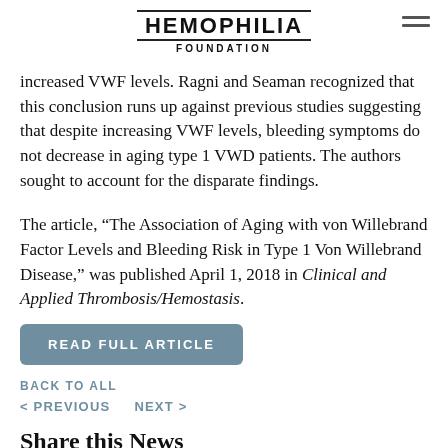HEMOPHILIA FOUNDATION
increased VWF levels. Ragni and Seaman recognized that this conclusion runs up against previous studies suggesting that despite increasing VWF levels, bleeding symptoms do not decrease in aging type 1 VWD patients. The authors sought to account for the disparate findings.
The article, “The Association of Aging with von Willebrand Factor Levels and Bleeding Risk in Type 1 Von Willebrand Disease,” was published April 1, 2018 in Clinical and Applied Thrombosis/Hemostasis.
READ FULL ARTICLE
BACK TO ALL
< PREVIOUS   NEXT >
Share this News